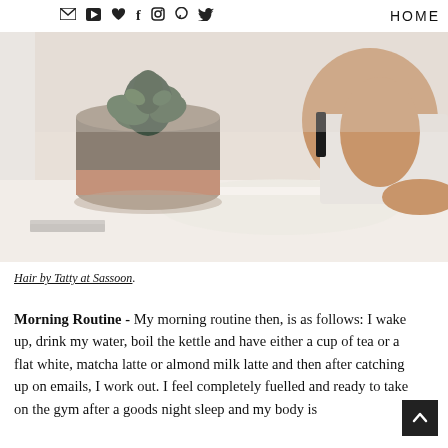HOME
[Figure (photo): Close-up lifestyle photo showing a succulent plant in a terracotta pot on a white surface, and a person in a white top leaning on the surface. Blurred, soft natural lighting.]
Hair by Tatty at Sassoon.
Morning Routine - My morning routine then, is as follows: I wake up, drink my water, boil the kettle and have either a cup of tea or a flat white, matcha latte or almond milk latte and then after catching up on emails, I work out. I feel completely fuelled and ready to take on the gym after a goods night sleep and my body is